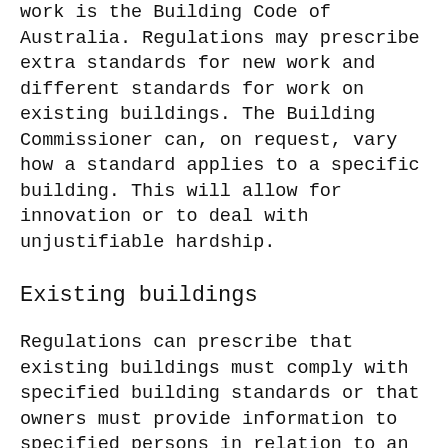work is the Building Code of Australia. Regulations may prescribe extra standards for new work and different standards for work on existing buildings. The Building Commissioner can, on request, vary how a standard applies to a specific building. This will allow for innovation or to deal with unjustifiable hardship.
Existing buildings
Regulations can prescribe that existing buildings must comply with specified building standards or that owners must provide information to specified persons in relation to an existing building. This will cover existing requirements for smoke alarms and swimming pool barriers, and can be extended to deal with mandatory disclosure of energy ratings and